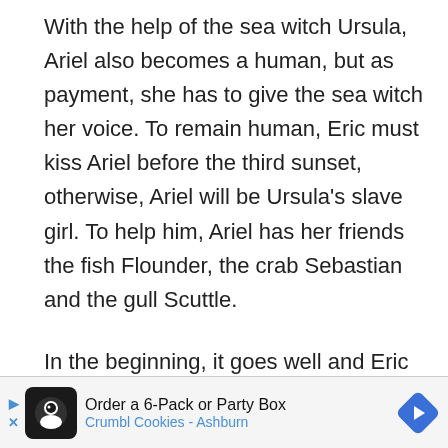With the help of the sea witch Ursula, Ariel also becomes a human, but as payment, she has to give the sea witch her voice. To remain human, Eric must kiss Ariel before the third sunset, otherwise, Ariel will be Ursula's slave girl. To help him, Ariel has her friends the fish Flounder, the crab Sebastian and the gull Scuttle.

In the beginning, it goes well and Eric begins to fall in love with Ariel, but he can not forget the woman with the fantastic voice that saved him. What Ariel does not know is that the sea witch Ursula has an evil plan. She declares herself human and takes Ariel's voice to make [ad overlay] n.
[Figure (other): Advertisement banner for Crumbl Cookies - Ashburn: Order a 6-Pack or Party Box, with cookie logo icon and blue diamond arrow icon]